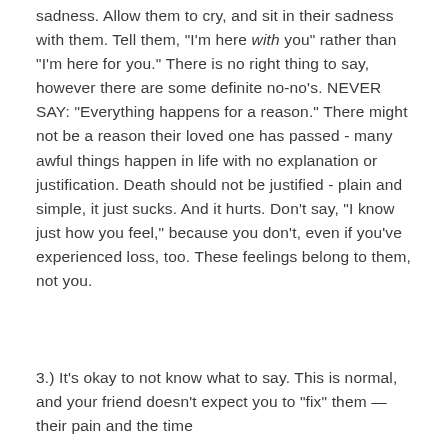sadness. Allow them to cry, and sit in their sadness with them. Tell them, "I'm here with you" rather than "I'm here for you." There is no right thing to say, however there are some definite no-no's. NEVER SAY: "Everything happens for a reason." There might not be a reason their loved one has passed - many awful things happen in life with no explanation or justification. Death should not be justified - plain and simple, it just sucks. And it hurts. Don't say, "I know just how you feel," because you don't, even if you've experienced loss, too. These feelings belong to them, not you.
3.) It's okay to not know what to say. This is normal, and your friend doesn't expect you to "fix" them — their pain and the time...